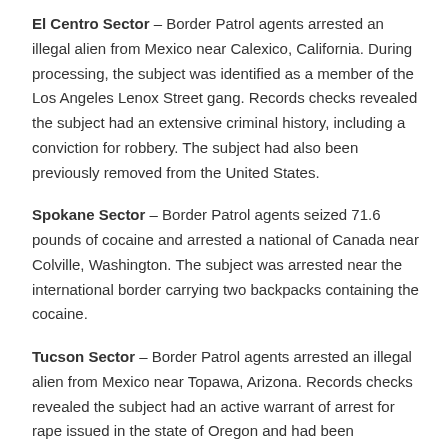El Centro Sector – Border Patrol agents arrested an illegal alien from Mexico near Calexico, California. During processing, the subject was identified as a member of the Los Angeles Lenox Street gang. Records checks revealed the subject had an extensive criminal history, including a conviction for robbery. The subject had also been previously removed from the United States.
Spokane Sector – Border Patrol agents seized 71.6 pounds of cocaine and arrested a national of Canada near Colville, Washington. The subject was arrested near the international border carrying two backpacks containing the cocaine.
Tucson Sector – Border Patrol agents arrested an illegal alien from Mexico near Topawa, Arizona. Records checks revealed the subject had an active warrant of arrest for rape issued in the state of Oregon and had been previously removed from the United States.